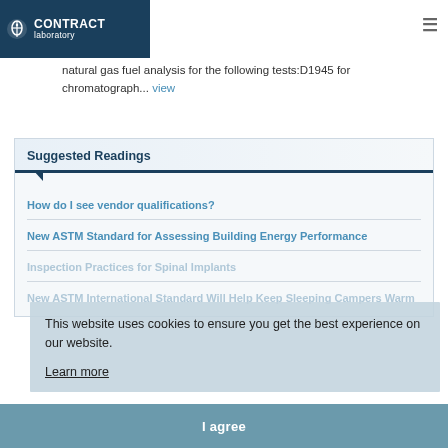CONTRACT laboratory
natural gas fuel analysis for the following tests:D1945 for chromatograph... view
Suggested Readings
How do I see vendor qualifications?
New ASTM Standard for Assessing Building Energy Performance
Inspection Practices for Spinal Implants
New ASTM International Standard Will Help Keep Sleeping Campers Warm
This website uses cookies to ensure you get the best experience on our website. Learn more
I agree